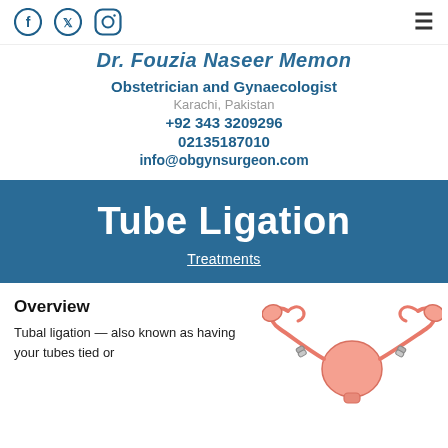Social media icons (Facebook, Twitter, Instagram) and hamburger menu
Dr. Fouzia Naseer Memon
Obstetrician and Gynaecologist
Karachi, Pakistan
+92 343 3209296
02135187010
info@obgynsurgeon.com
Tube Ligation
Treatments
Overview
Tubal ligation — also known as having your tubes tied or
[Figure (illustration): Medical illustration of female reproductive system showing uterus and fallopian tubes with ligation clamps applied to both tubes]